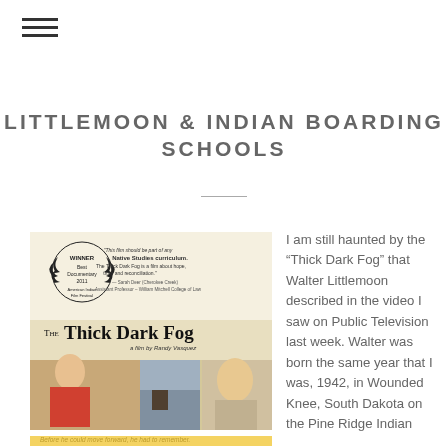☰
LITTLEMOON & INDIAN BOARDING SCHOOLS
[Figure (photo): Movie poster for 'The Thick Dark Fog', a documentary film by Randy Vasquez. Winner Best Documentary 2011 American Indian Film Festival. Shows two people and a building. Caption at bottom: 'Before he could move forward, he had to remember.']
I am still haunted by the "Thick Dark Fog" that Walter Littlemoon described in the video I saw on Public Television last week. Walter was born the same year that I was, 1942, in Wounded Knee, South Dakota on the Pine Ridge Indian